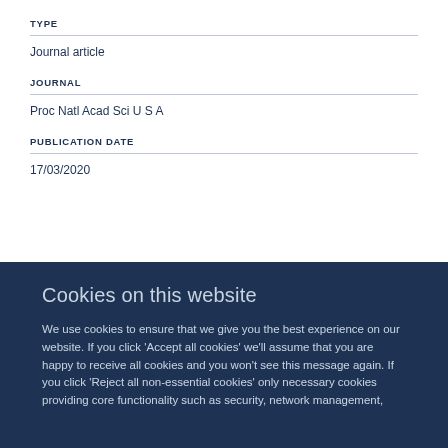TYPE
Journal article
JOURNAL
Proc Natl Acad Sci U S A
PUBLICATION DATE
17/03/2020
Cookies on this website
We use cookies to ensure that we give you the best experience on our website. If you click 'Accept all cookies' we'll assume that you are happy to receive all cookies and you won't see this message again. If you click 'Reject all non-essential cookies' only necessary cookies providing core functionality such as security, network management,